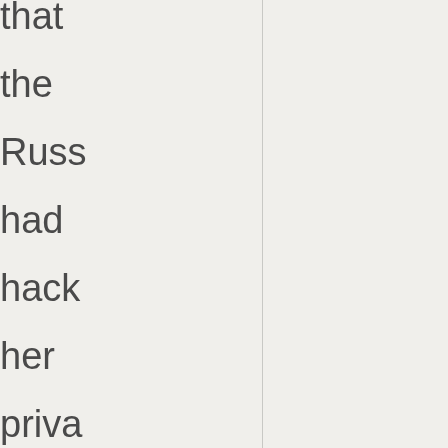that the Russ had hack her priva serve They spen 2015-2016 searc for the Holy Grail